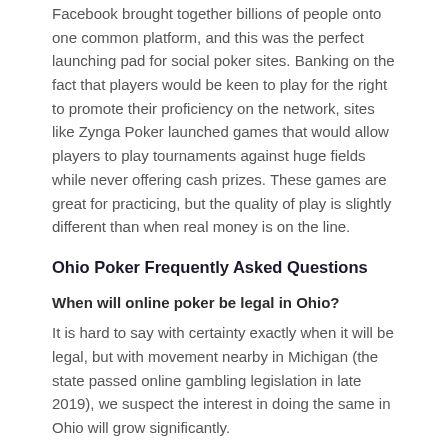Facebook brought together billions of people onto one common platform, and this was the perfect launching pad for social poker sites. Banking on the fact that players would be keen to play for the right to promote their proficiency on the network, sites like Zynga Poker launched games that would allow players to play tournaments against huge fields while never offering cash prizes. These games are great for practicing, but the quality of play is slightly different than when real money is on the line.
Ohio Poker Frequently Asked Questions
When will online poker be legal in Ohio?
It is hard to say with certainty exactly when it will be legal, but with movement nearby in Michigan (the state passed online gambling legislation in late 2019), we suspect the interest in doing the same in Ohio will grow significantly.
What about the offshore sites? Can we still play